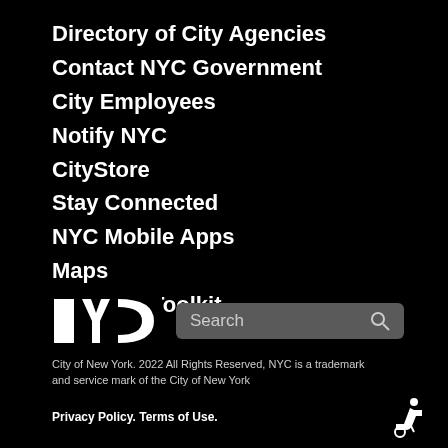Directory of City Agencies
Contact NYC Government
City Employees
Notify NYC
CityStore
Stay Connected
NYC Mobile Apps
Maps
Resident Toolkit
[Figure (logo): NYC government logo in white block letters on black background, with a search bar to the right]
City of New York. 2022 All Rights Reserved, NYC is a trademark and service mark of the City of New York
Privacy Policy. Terms of Use.